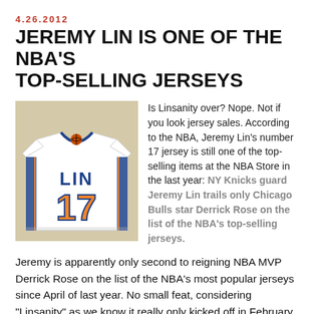4.26.2012
JEREMY LIN IS ONE OF THE NBA'S TOP-SELLING JERSEYS
[Figure (photo): Jeremy Lin #17 NY Knicks white jersey with LIN name and number 17 in blue and orange]
Is Linsanity over? Nope. Not if you look jersey sales. According to the NBA, Jeremy Lin's number 17 jersey is still one of the top-selling items at the NBA Store in the last year: NY Knicks guard Jeremy Lin trails only Chicago Bulls star Derrick Rose on the list of the NBA's top-selling jerseys.
Jeremy is apparently only second to reigning NBA MVP Derrick Rose on the list of the NBA's most popular jerseys since April of last year. No small feat, considering "Linsanity" as we know it really only kicked off in February, and Jeremy's been out injured for nearly a month:
Jeremy Lin, the New York Knicks playmaker who became an instant icon in